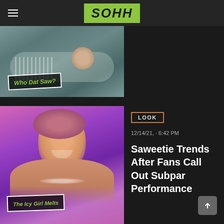SOHH
[Figure (photo): Article thumbnail image with text overlay reading 'Who Dat Saw?' in green stylized font on dark background label]
[Figure (photo): Photo of Saweetie smiling with pink hair against purple/pink gradient background, with text overlay reading 'The Icy Girl Melts' in green stylized font]
LOOK
12/14/21, · 6:42 PM
Saweetie Trends After Fans Call Out Subpar Performance